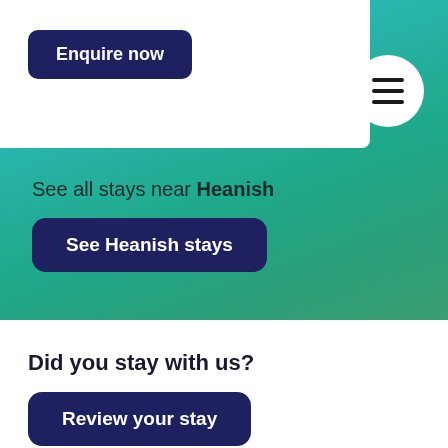[Figure (screenshot): Teal and green gradient background representing a landscape/sky scene with torn paper edge effect at the bottom]
Enquire now
[Figure (other): Hamburger menu icon in a white circle]
See all stays near Heanish
See Heanish stays
Did you stay with us?
Review your stay